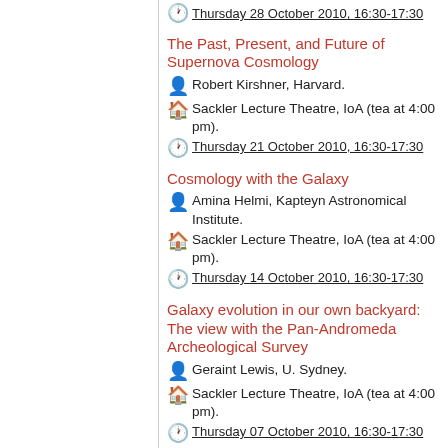Thursday 28 October 2010, 16:30-17:30
The Past, Present, and Future of Supernova Cosmology
Robert Kirshner, Harvard.
Sackler Lecture Theatre, IoA (tea at 4:00 pm).
Thursday 21 October 2010, 16:30-17:30
Cosmology with the Galaxy
Amina Helmi, Kapteyn Astronomical Institute.
Sackler Lecture Theatre, IoA (tea at 4:00 pm).
Thursday 14 October 2010, 16:30-17:30
Galaxy evolution in our own backyard: The view with the Pan-Andromeda Archeological Survey
Geraint Lewis, U. Sydney.
Sackler Lecture Theatre, IoA (tea at 4:00 pm).
Thursday 07 October 2010, 16:30-17:30
The Cosmic origins Spectrograph on HST: New IGM Results including